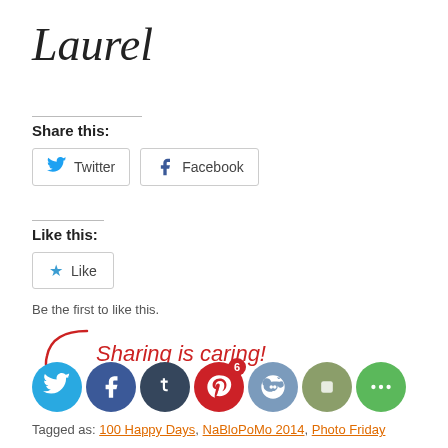Laurel
Share this:
Twitter  Facebook
Like this:
Like
Be the first to like this.
[Figure (infographic): Sharing is caring! text with arrow and social media icons: Twitter, Facebook, Tumblr, Pinterest (badge 6), Reddit, StumbleUpon, More]
Tagged as: 100 Happy Days, NaBloPoMo 2014, Photo Friday
Laurel Storey, CZT – Certified Zentangle Teacher